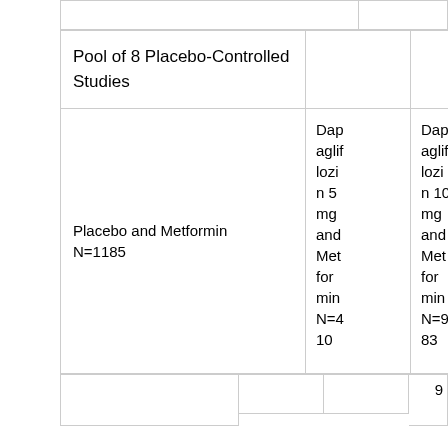|  | Dapagliflozin 5 mg and Metformin N=410 | Dapagliflozin 10 mg and Metformin N=983 |
| --- | --- | --- |
| Pool of 8 Placebo-Controlled Studies |  |  |
| Placebo and Metformin N=1185 | Dapagliflozin 5 mg and Metformin N=410 | Dapagliflozin 10 mg and Metformin N=983 |